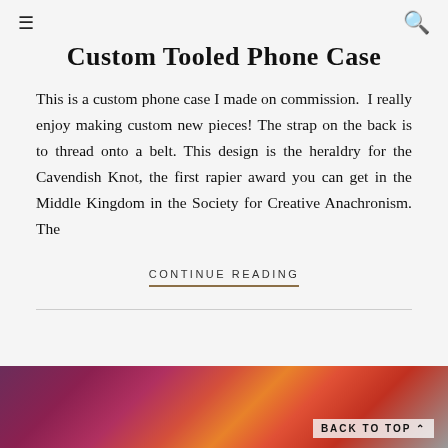☰  🔍
Custom Tooled Phone Case
This is a custom phone case I made on commission.  I really enjoy making custom new pieces! The strap on the back is to thread onto a belt. This design is the heraldry for the Cavendish Knot, the first rapier award you can get in the Middle Kingdom in the Society for Creative Anachronism. The
CONTINUE READING
[Figure (photo): Bottom portion of page showing a colorful image with purple, red, orange and other colors, partially visible. A 'BACK TO TOP' button is visible in the bottom right.]